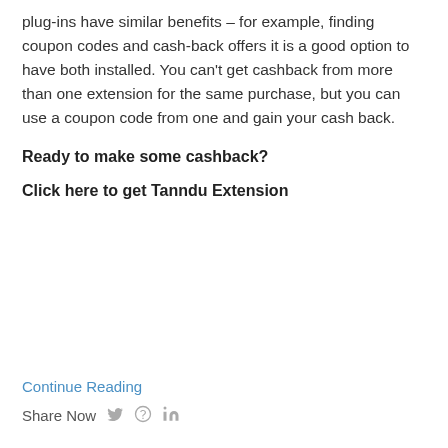plug-ins have similar benefits – for example, finding coupon codes and cash-back offers it is a good option to have both installed. You can't get cashback from more than one extension for the same purchase, but you can use a coupon code from one and gain your cash back.
Ready to make some cashback?
Click here to get Tanndu Extension
Continue Reading
Share Now